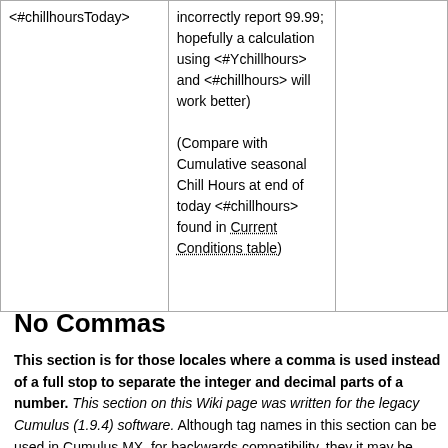| <#chillhoursToday> | incorrectly report 99.99; hopefully a calculation using <#Ychillhours> and <#chillhours> will work better)

(Compare with Cumulative seasonal Chill Hours at end of today <#chillhours> found in Current Conditions table) |  |
No Commas
This section is for those locales where a comma is used instead of a full stop to separate the integer and decimal parts of a number. This section on this Wiki page was written for the legacy Cumulus (1.9.4) software. Although tag names in this section can be used in Cumulus MX, for backwards compatibility, they it may be better to note that they do not...